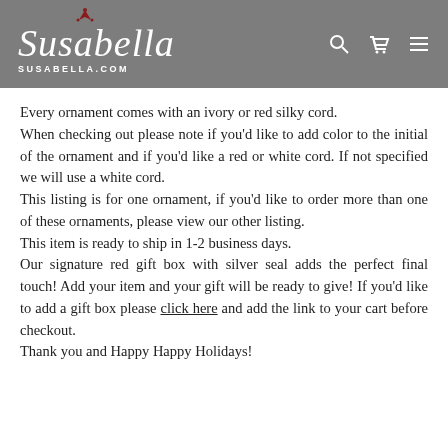Susabella SUSABELLA.COM
Every ornament comes with an ivory or red silky cord.
When checking out please note if you'd like to add color to the initial of the ornament and if you'd like a red or white cord. If not specified we will use a white cord.
This listing is for one ornament, if you'd like to order more than one of these ornaments, please view our other listing.
This item is ready to ship in 1-2 business days.
Our signature red gift box with silver seal adds the perfect final touch! Add your item and your gift will be ready to give! If you'd like to add a gift box please click here and add the link to your cart before checkout.
Thank you and Happy Happy Holidays!